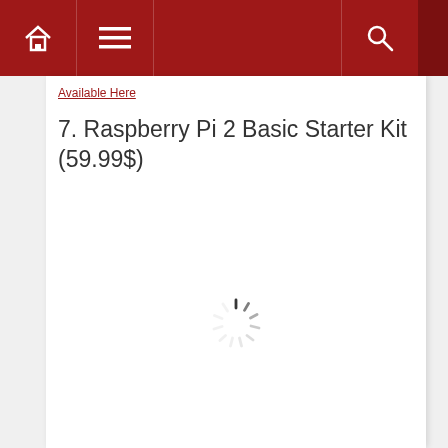Available Here
7. Raspberry Pi 2 Basic Starter Kit (59.99$)
[Figure (other): Loading spinner icon — a circular array of radial dashes in gray indicating content is loading]